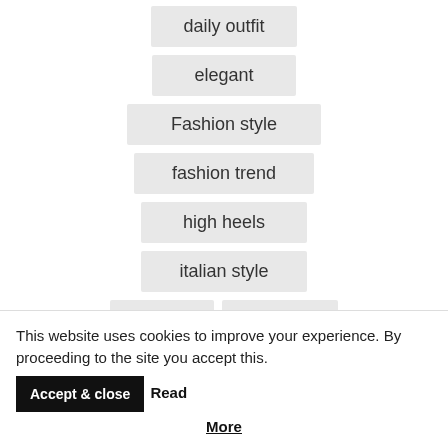daily outfit
elegant
Fashion style
fashion trend
high heels
italian style
jeans
lifestyle
This website uses cookies to improve your experience. By proceeding to the site you accept this. Accept & close Read More